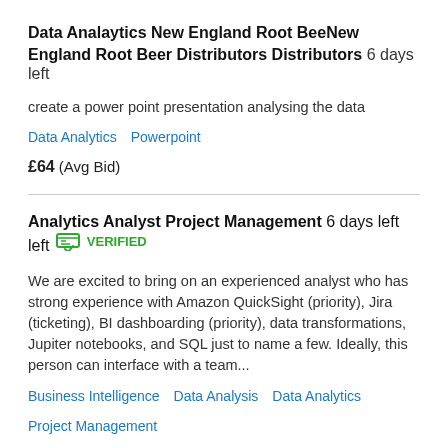Data Analaytics New England Root BeeNew England Root Beer Distributors Distributors  6 days left
create a power point presentation analysing the data
Data Analytics   Powerpoint
£64  (Avg Bid)
Analytics Analyst Project Management  6 days left  VERIFIED
We are excited to bring on an experienced analyst who has strong experience with Amazon QuickSight (priority), Jira (ticketing), BI dashboarding (priority), data transformations, Jupiter notebooks, and SQL just to name a few. Ideally, this person can interface with a team...
Business Intelligence   Data Analysis   Data Analytics   Project Management